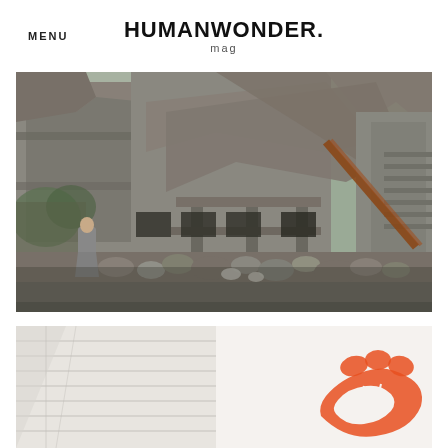MENU  HUMANWONDER. mag
[Figure (photo): A person in a gray robe standing in front of a heavily bombed and destroyed multi-story concrete building. Rubble and debris scattered on the ground. Sparse vegetation visible on the left side.]
[Figure (photo): Partial view of a white paneled wall or shutter on the left, and on the right side an orange/red paw print logo against a white wall.]